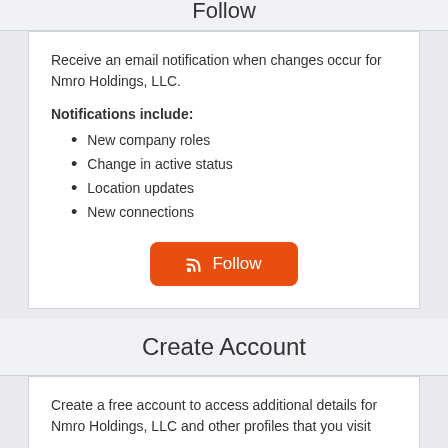Follow
Receive an email notification when changes occur for Nmro Holdings, LLC.
Notifications include:
New company roles
Change in active status
Location updates
New connections
[Figure (other): Orange Follow button with RSS icon]
Create Account
Create a free account to access additional details for Nmro Holdings, LLC and other profiles that you visit
Benefits include:
Access to more records